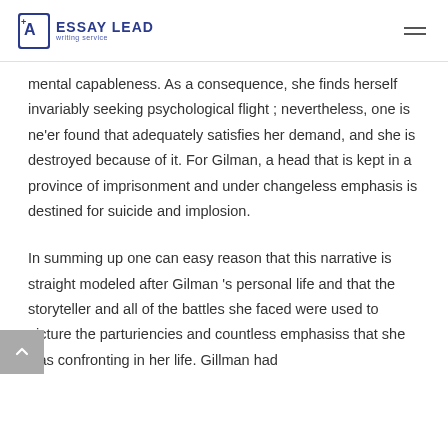ESSAY LEAD writing service
mental capableness. As a consequence, she finds herself invariably seeking psychological flight ; nevertheless, one is ne'er found that adequately satisfies her demand, and she is destroyed because of it. For Gilman, a head that is kept in a province of imprisonment and under changeless emphasis is destined for suicide and implosion.
In summing up one can easy reason that this narrative is straight modeled after Gilman 's personal life and that the storyteller and all of the battles she faced were used to picture the parturiencies and countless emphasiss that she was confronting in her life. Gillman had